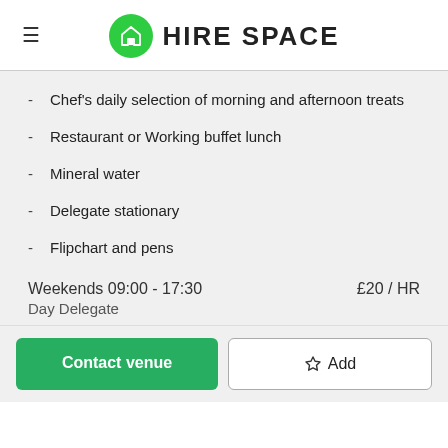HIRE SPACE
Chef's daily selection of morning and afternoon treats
Restaurant or Working buffet lunch
Mineral water
Delegate stationary
Flipchart and pens
Weekends 09:00 - 17:30    £20 / HR
Day Delegate
Contact venue
Add